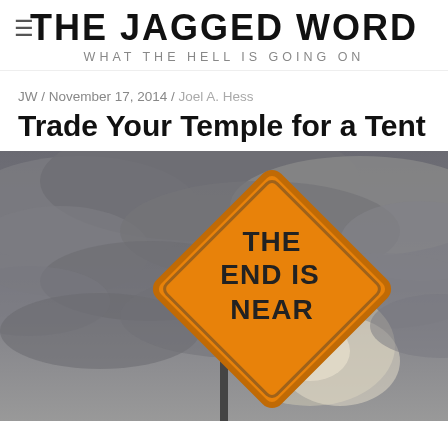THE JAGGED WORD
WHAT THE HELL IS GOING ON
JW / November 17, 2014 / Joel A. Hess
Trade Your Temple for a Tent
[Figure (photo): A diamond-shaped orange road sign reading 'THE END IS NEAR' against a dramatic stormy cloudy sky background, with a metal pole at the bottom.]